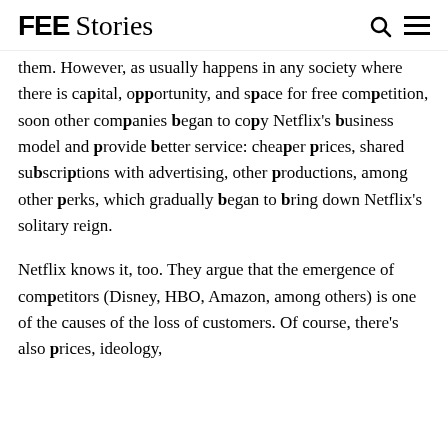FEE Stories
them. However, as usually happens in any society where there is capital, opportunity, and space for free competition, soon other companies began to copy Netflix's business model and provide better service: cheaper prices, shared subscriptions with advertising, other productions, among other perks, which gradually began to bring down Netflix's solitary reign.
Netflix knows it, too. They argue that the emergence of competitors (Disney, HBO, Amazon, among others) is one of the causes of the loss of customers. Of course, there's also prices, ideology,